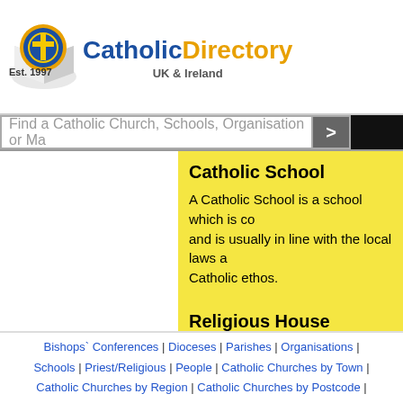[Figure (logo): CatholicDirectory UK & Ireland logo with book and cross icon, Est. 1997]
Find a Catholic Church, Schools, Organisation or Ma… >
Catholic School
A Catholic School is a school which is co… and is usually in line with the local laws a… Catholic ethos.
Religious House
A Religious House is a place where mem… the house may be open to the public or m… the type of Religious Order and the purpo… check before visiting
Catholic Chaplaincy
Bishops' Conferences | Dioceses | Parishes | Organisations | Schools | Priest/Religious | People | Catholic Churches by Town | Catholic Churches by Region | Catholic Churches by Postcode |